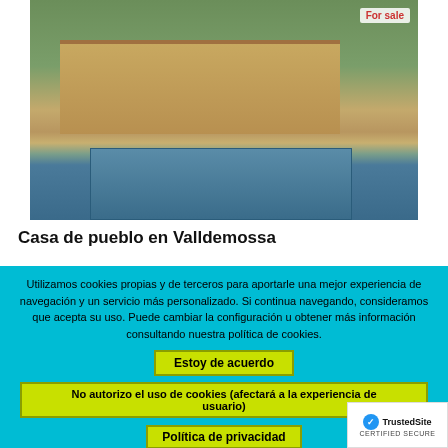[Figure (photo): Exterior photo of a Spanish country house (finca) with a rectangular swimming pool in front, surrounded by Mediterranean vegetation and hills. A 'For sale' badge is visible in the top right corner of the image.]
Casa de pueblo en Valldemossa
Utilizamos cookies propias y de terceros para aportarle una mejor experiencia de navegación y un servicio más personalizado. Si continua navegando, consideramos que acepta su uso. Puede cambiar la configuración u obtener más información consultando nuestra política de cookies.
Estoy de acuerdo
No autorizo el uso de cookies (afectará a la experiencia de usuario)
Política de privacidad